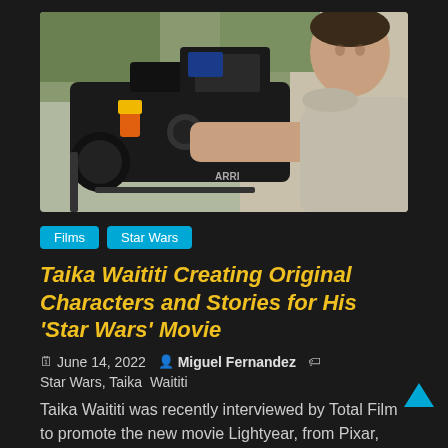[Figure (photo): A man (Taika Waititi) working with a professional film camera (ARRI) on a movie set, surrounded by camera equipment. He is wearing a grey t-shirt and leaning over the camera.]
Films   Star Wars
Taika Waititi Creating Original Characters and Stories for His 'Star Wars' Movie
June 14, 2022   Miguel Fernandez   Star Wars, Taika Waititi
Taika Waititi was recently interviewed by Total Film to promote the new movie Lightyear, from Pixar, and the topic of his…
Read more